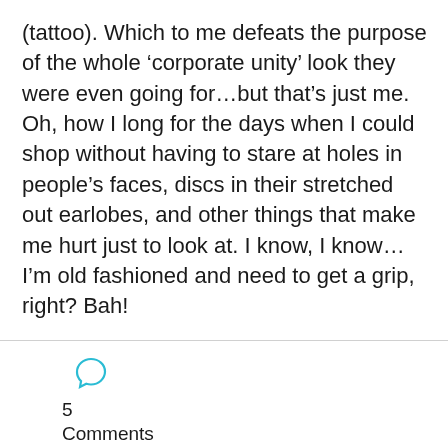(tattoo). Which to me defeats the purpose of the whole 'corporate unity' look they were even going for...but that's just me. Oh, how I long for the days when I could shop without having to stare at holes in people's faces, discs in their stretched out earlobes, and other things that make me hurt just to look at. I know, I know...I'm old fashioned and need to get a grip, right? Bah!
[Figure (illustration): Cyan speech bubble / comment icon]
5
Comments